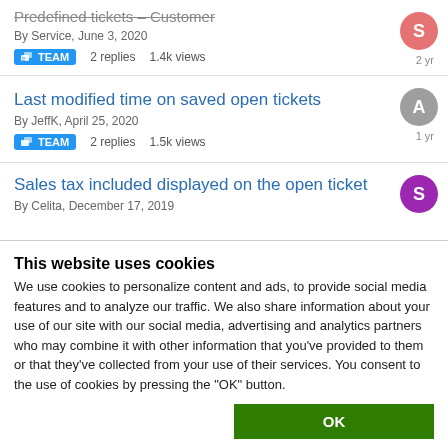Predefined tickets – Customer
By Service, June 3, 2020
TEAM  2 replies  1.4k views
2 yr
Last modified time on saved open tickets
By JeffK, April 25, 2020
TEAM  2 replies  1.5k views
1 yr
Sales tax included displayed on the open ticket
By Celita, December 17, 2019
This website uses cookies
We use cookies to personalize content and ads, to provide social media features and to analyze our traffic. We also share information about your use of our site with our social media, advertising and analytics partners who may combine it with other information that you've provided to them or that they've collected from your use of their services. You consent to the use of cookies by pressing the "OK" button.
OK
Necessary  Preferences  Statistics  Marketing  Show details